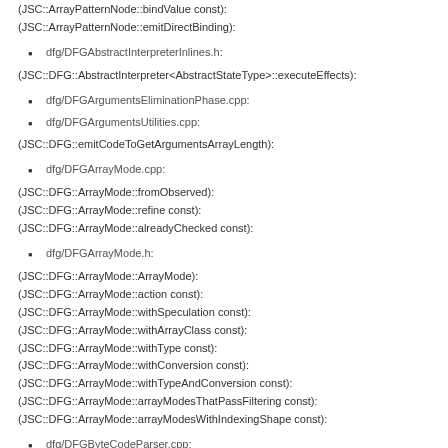(JSC::ArrayPatternNode::bindValue const):
(JSC::ArrayPatternNode::emitDirectBinding):
dfg/DFGAbstractInterpreterInlines.h:
(JSC::DFG::AbstractInterpreter<AbstractStateType>::executeEffects):
dfg/DFGArgumentsEliminationPhase.cpp:
dfg/DFGArgumentsUtilities.cpp:
(JSC::DFG::emitCodeToGetArgumentsArrayLength):
dfg/DFGArrayMode.cpp:
(JSC::DFG::ArrayMode::fromObserved):
(JSC::DFG::ArrayMode::refine const):
(JSC::DFG::ArrayMode::alreadyChecked const):
dfg/DFGArrayMode.h:
(JSC::DFG::ArrayMode::ArrayMode):
(JSC::DFG::ArrayMode::action const):
(JSC::DFG::ArrayMode::withSpeculation const):
(JSC::DFG::ArrayMode::withArrayClass const):
(JSC::DFG::ArrayMode::withType const):
(JSC::DFG::ArrayMode::withConversion const):
(JSC::DFG::ArrayMode::withTypeAndConversion const):
(JSC::DFG::ArrayMode::arrayModesThatPassFiltering const):
(JSC::DFG::ArrayMode::arrayModesWithIndexingShape const):
dfg/DFGByteCodeParser.cpp: